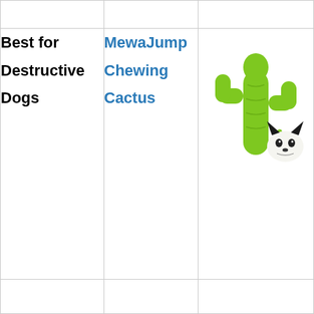| Category | Product | Image |
| --- | --- | --- |
|  |  |  |
| Best for Destructive Dogs | MewaJump Chewing Cactus | [image of cactus dog toy] |
|  |  |  |